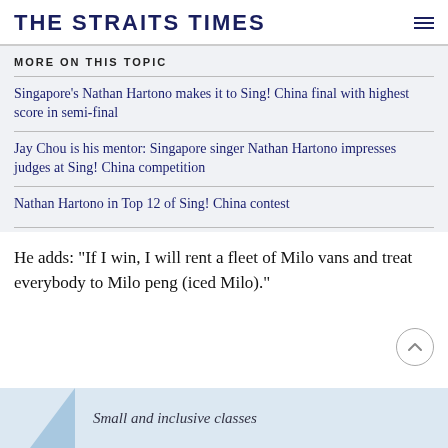THE STRAITS TIMES
MORE ON THIS TOPIC
Singapore's Nathan Hartono makes it to Sing! China final with highest score in semi-final
Jay Chou is his mentor: Singapore singer Nathan Hartono impresses judges at Sing! China competition
Nathan Hartono in Top 12 of Sing! China contest
He adds: "If I win, I will rent a fleet of Milo vans and treat everybody to Milo peng (iced Milo)."
[Figure (other): Advertisement partial banner with triangle graphic and text 'Small and inclusive classes']